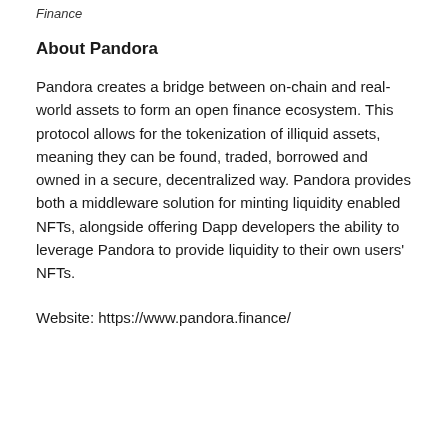Finance
About Pandora
Pandora creates a bridge between on-chain and real-world assets to form an open finance ecosystem. This protocol allows for the tokenization of illiquid assets, meaning they can be found, traded, borrowed and owned in a secure, decentralized way. Pandora provides both a middleware solution for minting liquidity enabled NFTs, alongside offering Dapp developers the ability to leverage Pandora to provide liquidity to their own users' NFTs.
Website: https://www.pandora.finance/